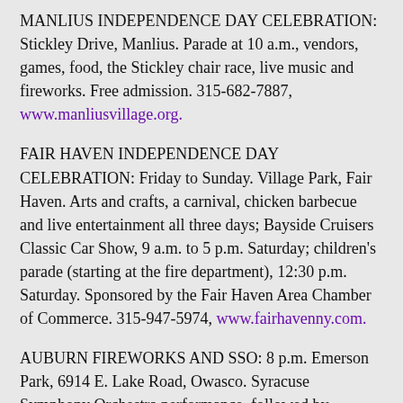MANLIUS INDEPENDENCE DAY CELEBRATION: Stickley Drive, Manlius. Parade at 10 a.m., vendors, games, food, the Stickley chair race, live music and fireworks. Free admission. 315-682-7887, www.manliusvillage.org.
FAIR HAVEN INDEPENDENCE DAY CELEBRATION: Friday to Sunday. Village Park, Fair Haven. Arts and crafts, a carnival, chicken barbecue and live entertainment all three days; Bayside Cruisers Classic Car Show, 9 a.m. to 5 p.m. Saturday; children's parade (starting at the fire department), 12:30 p.m. Saturday. Sponsored by the Fair Haven Area Chamber of Commerce. 315-947-5974, www.fairhavenny.com.
AUBURN FIREWORKS AND SSO: 8 p.m. Emerson Park, 6914 E. Lake Road, Owasco. Syracuse Symphony Orchestra performance, followed by fireworks. Rain location: Auburn High School. Free. syracusesymphony.org.
2 KOOL 4 SKOOL AND PICTURE THIS: 8 p.m. Paper Mill Island, 24 Lock St., Baldwinsville. Contemporary rhythm and blues band, followed by a Huey Lewis and the News tribute band. Fireworks after the music. Bring a chair or blanket. Gates open at 5 p.m. $4; 12 and younger, free; $2 discount coupons